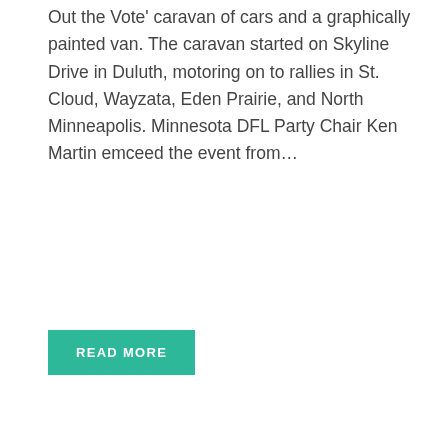Out the Vote' caravan of cars and a graphically painted van. The caravan started on Skyline Drive in Duluth, motoring on to rallies in St. Cloud, Wayzata, Eden Prairie, and North Minneapolis. Minnesota DFL Party Chair Ken Martin emceed the event from…
READ MORE
[Figure (photo): A faded/washed-out photograph showing an outdoor scene with vehicles and a crowd, partially visible with an OUTDOORS category tag overlaid in the top-left corner]